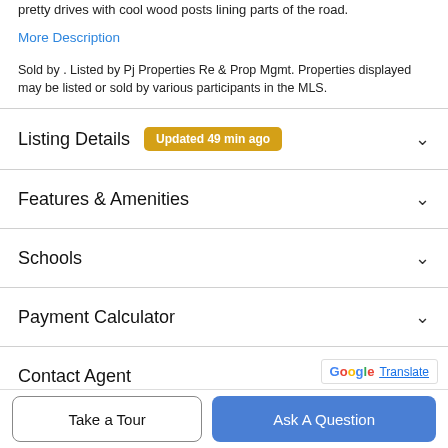pretty drives with cool wood posts lining parts of the road.
More Description
Sold by . Listed by Pj Properties Re & Prop Mgmt. Properties displayed may be listed or sold by various participants in the MLS.
Listing Details  Updated 49 min ago
Features & Amenities
Schools
Payment Calculator
Contact Agent